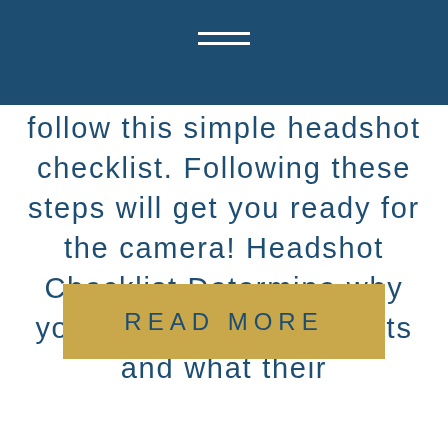follow this simple headshot checklist. Following these steps will get you ready for the camera! Headshot Checklist Determine why you are getting headshots and what their
READ MORE